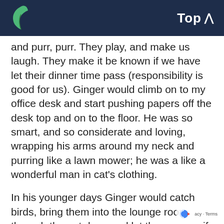Top
and purr, purr. They play, and make us laugh. They make it be known if we have let their dinner time pass (responsibility is good for us). Ginger would climb on to my office desk and start pushing papers off the desk top and on to the floor. He was so smart, and so considerate and loving, wrapping his arms around my neck and purring like a lawn mower; he was a like a wonderful man in cat's clothing.
In his younger days Ginger would catch birds, bring them into the lounge room through the pet door, and let them go, as if to say 'here's my contribution to dinner,
reCAPTCHA Privacy - Terms